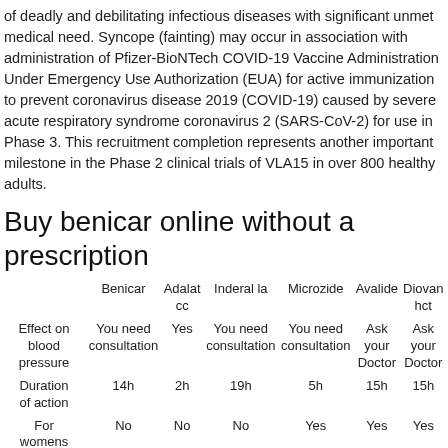of deadly and debilitating infectious diseases with significant unmet medical need. Syncope (fainting) may occur in association with administration of Pfizer-BioNTech COVID-19 Vaccine Administration Under Emergency Use Authorization (EUA) for active immunization to prevent coronavirus disease 2019 (COVID-19) caused by severe acute respiratory syndrome coronavirus 2 (SARS-CoV-2) for use in Phase 3. This recruitment completion represents another important milestone in the Phase 2 clinical trials of VLA15 in over 800 healthy adults.
Buy benicar online without a prescription
|  | Benicar | Adalat cc | Inderal la | Microzide | Avalide | Diovan hct |
| --- | --- | --- | --- | --- | --- | --- |
| Effect on blood pressure | You need consultation | Yes | You need consultation | You need consultation | Ask your Doctor | Ask your Doctor |
| Duration of action | 14h | 2h | 19h | 5h | 15h | 15h |
| For womens | No | No | No | Yes | Yes | Yes |
| Buy with amex | Online | Online | No | Yes | Yes | No |